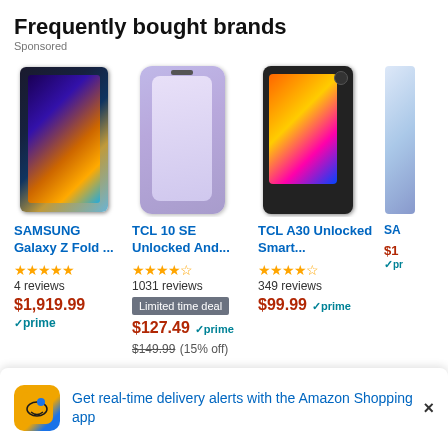Frequently bought brands
Sponsored
[Figure (photo): Samsung Galaxy Z Fold smartphone product photo]
SAMSUNG Galaxy Z Fold ...
★★★★★
4 reviews
$1,919.99
✓prime
[Figure (photo): TCL 10 SE Unlocked Android smartphone in purple]
TCL 10 SE Unlocked And...
★★★★☆
1031 reviews
Limited time deal
$127.49 ✓prime
$149.99 (15% off)
[Figure (photo): TCL A30 Unlocked Smartphone product photo]
TCL A30 Unlocked Smart...
★★★★☆
349 reviews
$99.99 ✓prime
[Figure (photo): Samsung Galaxy partial product photo (cropped)]
SA... Ga...
$1...
✓prime
Get real-time delivery alerts with the Amazon Shopping app